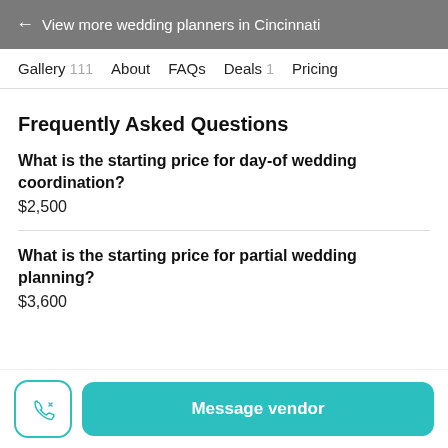← View more wedding planners in Cincinnati
Gallery 111   About   FAQs   Deals 1   Pricing
Frequently Asked Questions
What is the starting price for day-of wedding coordination?
$2,500
What is the starting price for partial wedding planning?
$3,600
Message vendor